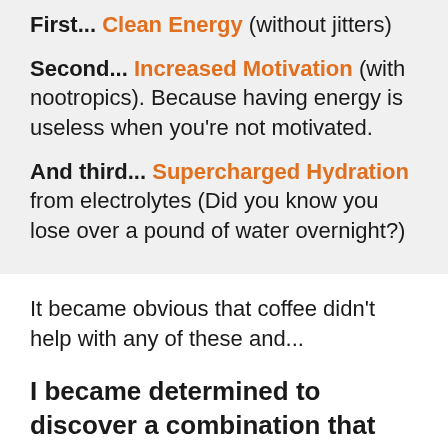First... Clean Energy (without jitters)
Second... Increased Motivation (with nootropics). Because having energy is useless when you're not motivated.
And third... Supercharged Hydration from electrolytes (Did you know you lose over a pound of water overnight?)
It became obvious that coffee didn't help with any of these and...
I became determined to discover a combination that WOULD unlock all 3